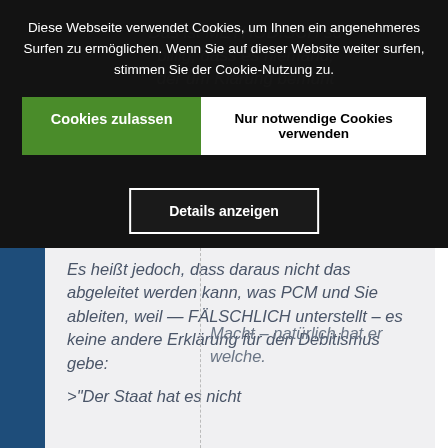[Figure (screenshot): Screenshot of a German website cookie consent banner overlaid on a webpage. The dark semi-transparent banner shows cookie notice text in German with three buttons: 'Cookies zulassen' (green), 'Nur notwendige Cookies verwenden' (white), and 'Details anzeigen' (dark with white border). Behind the banner, italic German text is partially visible on a light gray background with a blue left sidebar.]
Diese Webseite verwendet Cookies, um Ihnen ein angenehmeres Surfen zu ermöglichen. Wenn Sie auf dieser Website weiter surfen, stimmen Sie der Cookie-Nutzung zu.
Cookies zulassen
Nur notwendige Cookies verwenden
Details anzeigen
Es heißt jedoch, dass daraus nicht das abgeleitet werden kann, was PCM und Sie ableiten, weil — FÄLSCHLICH unterstellt – es keine andere Erklärung für den Debitismus gebe:
>"Der Staat hat es nicht